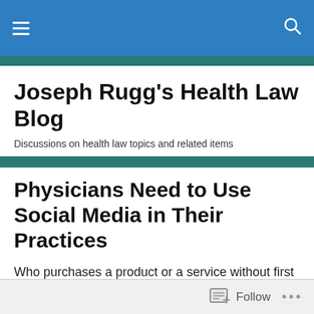Joseph Rugg's Health Law Blog — navigation header
Joseph Rugg's Health Law Blog
Discussions on health law topics and related items
Physicians Need to Use Social Media in Their Practices
Who purchases a product or a service without first checking the vendor's website and consumer reviews?  Patients do the same with their physicians.
Follow